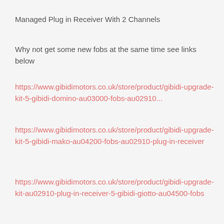Managed Plug in Receiver With 2 Channels
Why not get some new fobs at the same time see links below
https://www.gibidimotors.co.uk/store/product/gibidi-upgrade-kit-5-gibidi-domino-au03000-fobs-au02910...
https://www.gibidimotors.co.uk/store/product/gibidi-upgrade-kit-5-gibidi-mako-au04200-fobs-au02910-plug-in-receiver
https://www.gibidimotors.co.uk/store/product/gibidi-upgrade-kit-au02910-plug-in-receiver-5-gibidi-giotto-au04500-fobs